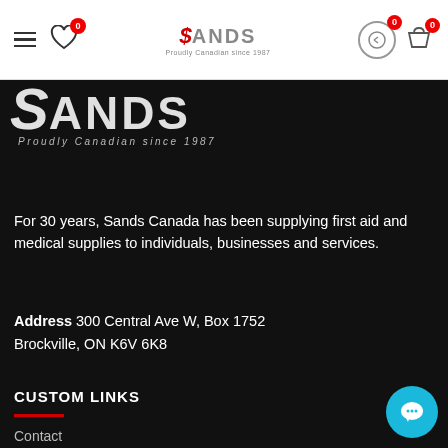[Figure (logo): Sands Canada logo with navigation bar including hamburger menu, heart icon with badge 0, Sands logo center, return icon with badge 0, and shopping bag with badge 0]
[Figure (logo): Sands Canada dark background logo: large S with ANDS text and tagline Proudly Canadian since 1987]
For 30 years, Sands Canada has been supplying first aid and medical supplies to individuals, businesses and services.
Address 300 Central Ave W, Box 1752 Brockville, ON K6V 6K8
CUSTOM LINKS
Contact
Manufacturers